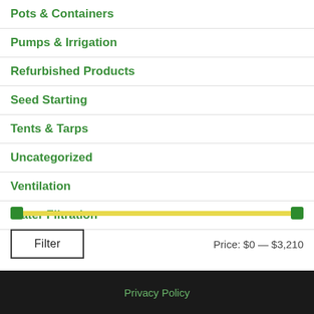Pots & Containers
Pumps & Irrigation
Refurbished Products
Seed Starting
Tents & Tarps
Uncategorized
Ventilation
Water Filtration
[Figure (other): Price range slider from $0 to $3,210 with yellow track and green square handles on each end]
Price: $0 — $3,210
Privacy Policy